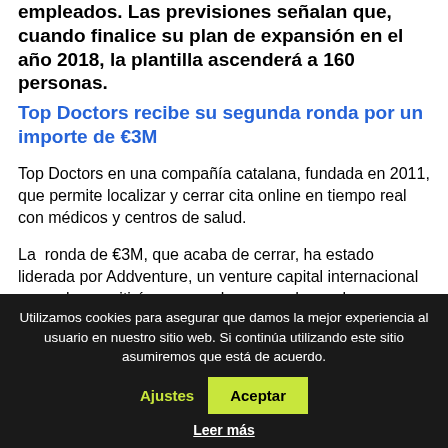empleados. Las previsiones señalan que, cuando finalice su plan de expansión en el año 2018, la plantilla ascenderá a 160 personas.
Top Doctors recibe su segunda ronda por un importe de €3M
Top Doctors en una compañía catalana, fundada en 2011, que permite localizar y cerrar cita online en tiempo real con médicos y centros de salud.
La ronda de €3M, que acaba de cerrar, ha estado liderada por Addventure, un venture capital internacional ruso y le permitirá crecer en los mercados en los que ya opera y abrirse a nuevos
Utilizamos cookies para asegurar que damos la mejor experiencia al usuario en nuestro sitio web. Si continúa utilizando este sitio asumiremos que está de acuerdo.
Ajustes
Aceptar
Leer más